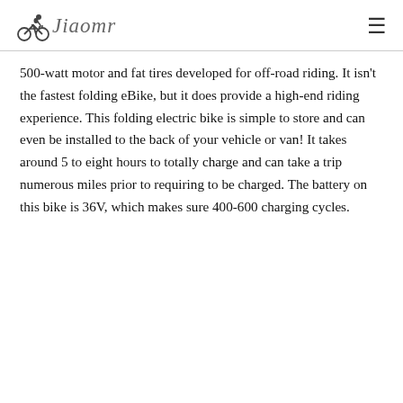Jiaomr
500-watt motor and fat tires developed for off-road riding. It isn't the fastest folding eBike, but it does provide a high-end riding experience. This folding electric bike is simple to store and can even be installed to the back of your vehicle or van! It takes around 5 to eight hours to totally charge and can take a trip numerous miles prior to requiring to be charged. The battery on this bike is 36V, which makes sure 400-600 charging cycles.